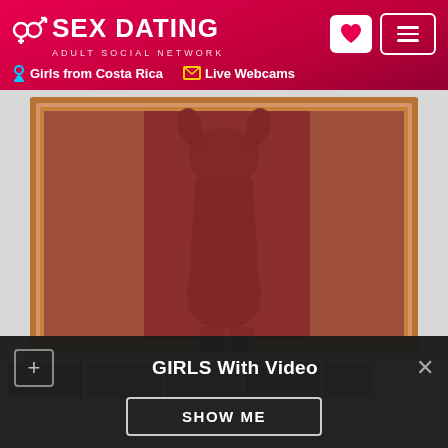SEX DATING ADULT SOCIAL NETWORK | Girls from Costa Rica | Live Webcams
[Figure (photo): A nude figure photographed in a mirror selfie, body shown from neck to thighs, reddish-brown tint overlay on image, ornate mirror frame visible.]
[Figure (photo): Row of small thumbnail preview images partially visible at bottom of main image section.]
GIRLS With Video
SHOW ME